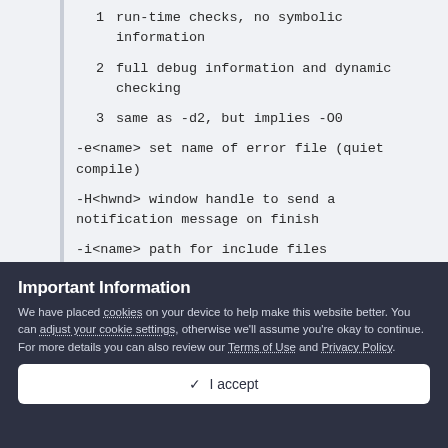1    run-time checks, no symbolic information
2    full debug information and dynamic checking
3    same as -d2, but implies -O0
-e<name> set name of error file (quiet compile)
-H<hwnd> window handle to send a notification message on finish
-i<name> path for include files
-l       create list file (preprocess only)
Important Information
We have placed cookies on your device to help make this website better. You can adjust your cookie settings, otherwise we'll assume you're okay to continue. For more details you can also review our Terms of Use and Privacy Policy.
✓  I accept